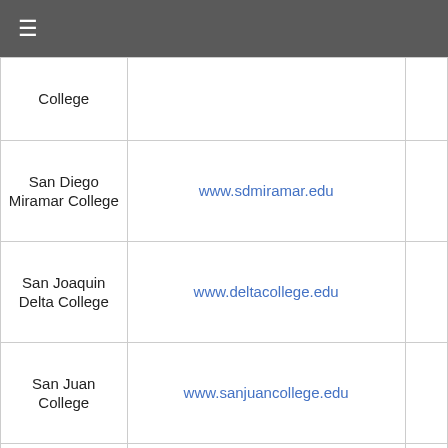≡
| College Name | Website |  |
| --- | --- | --- |
| College |  |  |
| San Diego Miramar College | www.sdmiramar.edu |  |
| San Joaquin Delta College | www.deltacollege.edu |  |
| San Juan College | www.sanjuancollege.edu |  |
| Santa Ana College | www.sac.edu |  |
| Santa Rosa Junior College | www.santarosa.edu |  |